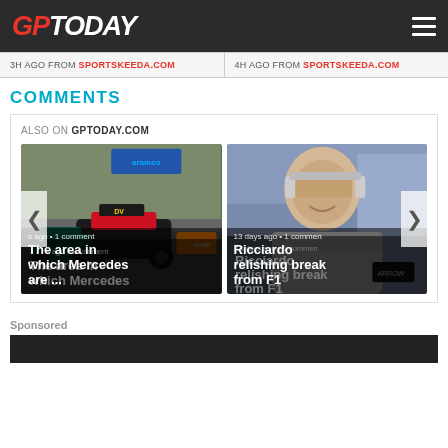GP Today
3H AGO FROM SPORTSKEEDA.COM
4H AGO FROM SPORTSKEEDA.COM
COMMENTS
ALSO ON GPTODAY.COM
[Figure (photo): F1 cars racing on track - The area in which Mercedes are ...]
[Figure (photo): Ricciardo with headphones - Ricciardo relishing break from F1]
Sponsored